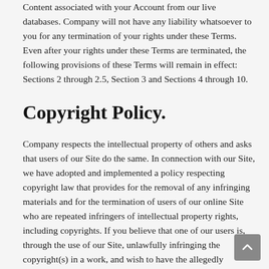Content associated with your Account from our live databases. Company will not have any liability whatsoever to you for any termination of your rights under these Terms. Even after your rights under these Terms are terminated, the following provisions of these Terms will remain in effect: Sections 2 through 2.5, Section 3 and Sections 4 through 10.
Copyright Policy.
Company respects the intellectual property of others and asks that users of our Site do the same. In connection with our Site, we have adopted and implemented a policy respecting copyright law that provides for the removal of any infringing materials and for the termination of users of our online Site who are repeated infringers of intellectual property rights, including copyrights. If you believe that one of our users is, through the use of our Site, unlawfully infringing the copyright(s) in a work, and wish to have the allegedly infringing material removed, the following information in the form of a written notification (pursuant to 17 U.S.C. § 512(c)) must be provided to our designated Copyright Agent: